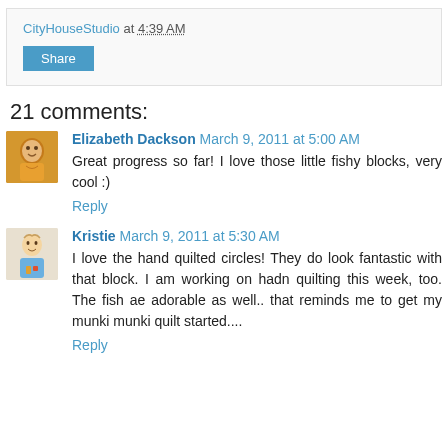CityHouseStudio at 4:39 AM
Share
21 comments:
Elizabeth Dackson March 9, 2011 at 5:00 AM
Great progress so far! I love those little fishy blocks, very cool :)
Reply
Kristie March 9, 2011 at 5:30 AM
I love the hand quilted circles! They do look fantastic with that block. I am working on hadn quilting this week, too. The fish ae adorable as well.. that reminds me to get my munki munki quilt started....
Reply